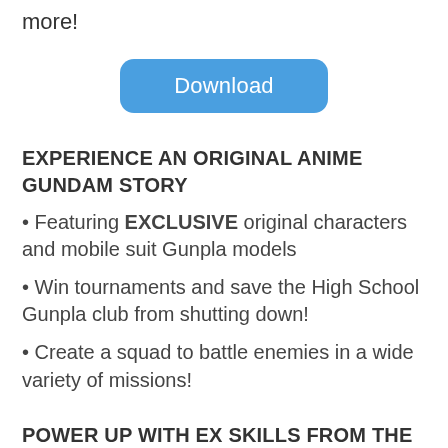more!
[Figure (other): Blue rounded Download button]
EXPERIENCE AN ORIGINAL ANIME GUNDAM STORY
• Featuring EXCLUSIVE original characters and mobile suit Gunpla models
• Win tournaments and save the High School Gunpla club from shutting down!
• Create a squad to battle enemies in a wide variety of missions!
POWER UP WITH EX SKILLS FROM THE ANIME
• Finish mecha enemies with powerful EX Skills to win battles